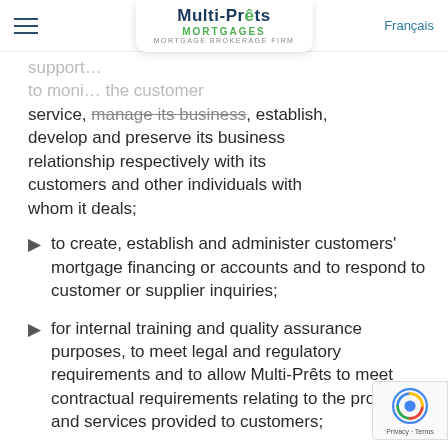Multi-Prêts Mortgages — Mortgage Brokerage Firm | Français
support... to monitor... the customer service, manage its business, establish, develop and preserve its business relationship respectively with its customers and other individuals with whom it deals;
to create, establish and administer customers' mortgage financing or accounts and to respond to customer or supplier inquiries;
for internal training and quality assurance purposes, to meet legal and regulatory requirements and to allow Multi-Prêts to meet contractual requirements relating to the products and services provided to customers;
to understand and assess the interests